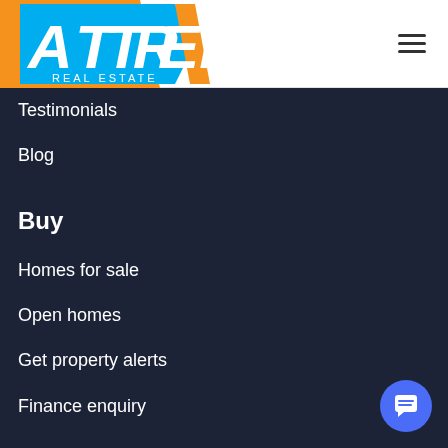[Figure (logo): Attree Real Estate logo with orange and blue triangular shapes and white text]
Testimonials
Blog
Buy
Homes for sale
Open homes
Get property alerts
Finance enquiry
Sell